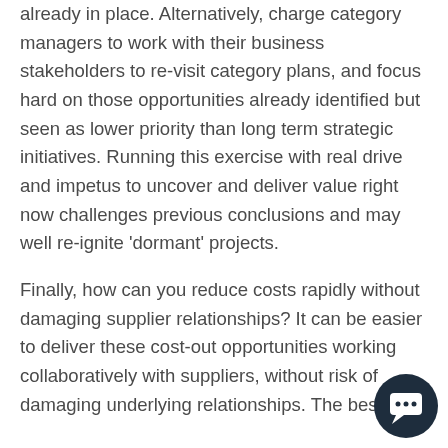already in place. Alternatively, charge category managers to work with their business stakeholders to re-visit category plans, and focus hard on those opportunities already identified but seen as lower priority than long term strategic initiatives. Running this exercise with real drive and impetus to uncover and deliver value right now challenges previous conclusions and may well re-ignite 'dormant' projects.
Finally, how can you reduce costs rapidly without damaging supplier relationships? It can be easier to deliver these cost-out opportunities working collaboratively with suppliers, without risk of damaging underlying relationships. The best
[Figure (other): Dark navy circular chat/support bubble icon in the bottom right corner of the page]